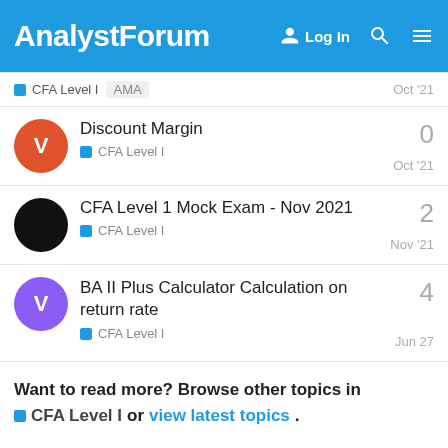AnalystForum | Log In
CFA Level I  AMA  Oct '21
Discount Margin — CFA Level I — 0 replies — Oct '21
CFA Level 1 Mock Exam - Nov 2021 — CFA Level I — 2 replies — Nov '21
BA II Plus Calculator Calculation on return rate — CFA Level I — 4 replies — Jun 27
Want to read more? Browse other topics in CFA Level I or view latest topics.